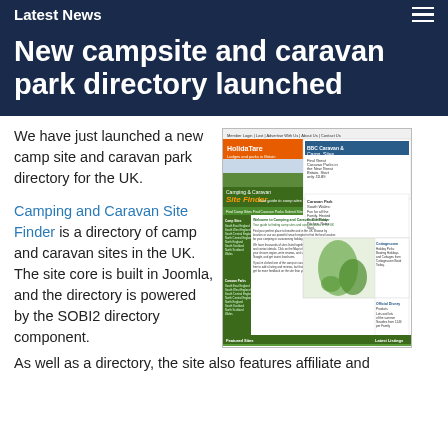Latest News
New campsite and caravan park directory launched
We have just launched a new camp site and caravan park directory for the UK.
[Figure (screenshot): Screenshot of the Camping and Caravan Site Finder website showing the homepage with a green and orange header, site finder tool, UK map, and directory listings.]
Camping and Caravan Site Finder is a directory of camp and caravan sites in the UK. The site core is built in Joomla, and the directory is powered by the SOBI2 directory component.
As well as a directory, the site also features affiliate and